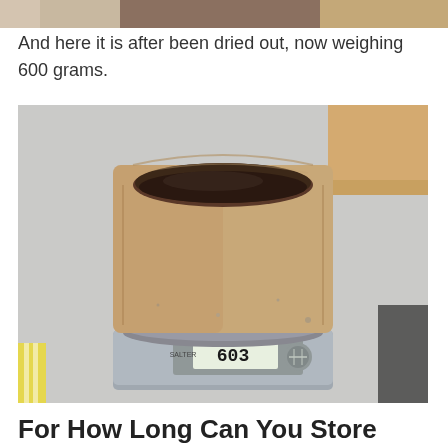[Figure (photo): Partial top of a photo showing something at the top of the page (cropped)]
And here it is after been dried out, now weighing 600 grams.
[Figure (photo): A paper bag filled with dark dried material (used coffee grounds or similar) sitting on a silver digital kitchen scale showing a reading of 603 grams on the display.]
For How Long Can You Store Used